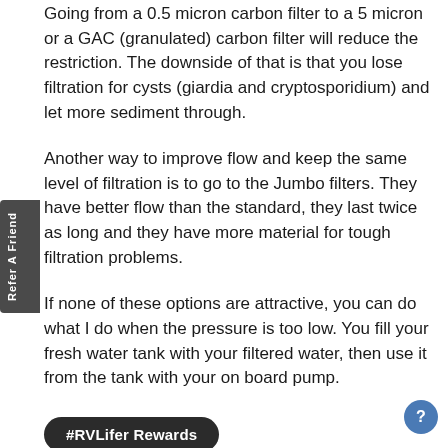Going from a 0.5 micron carbon filter to a 5 micron or a GAC (granulated) carbon filter will reduce the restriction. The downside of that is that you lose filtration for cysts (giardia and cryptosporidium) and let more sediment through.
Another way to improve flow and keep the same level of filtration is to go to the Jumbo filters. They have better flow than the standard, they last twice as long and they have more material for tough filtration problems.
If none of these options are attractive, you can do what I do when the pressure is too low. You fill your fresh water tank with your filtered water, then use it from the tank with your on board pump.
#RVLifer Rewards
balancing the level of filtration to an acceptable